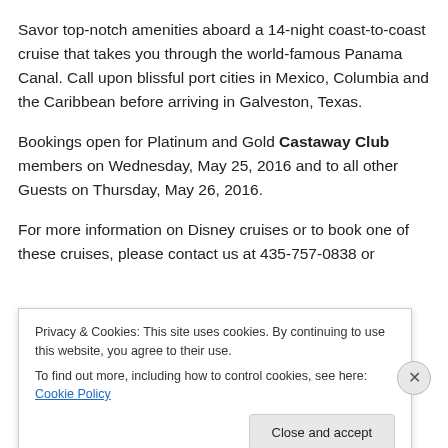Savor top-notch amenities aboard a 14-night coast-to-coast cruise that takes you through the world-famous Panama Canal. Call upon blissful port cities in Mexico, Columbia and the Caribbean before arriving in Galveston, Texas.
Bookings open for Platinum and Gold Castaway Club members on Wednesday, May 25, 2016 and to all other Guests on Thursday, May 26, 2016.
For more information on Disney cruises or to book one of these cruises, please contact us at 435-757-0838 or
[Figure (screenshot): Cookie consent overlay with text: 'Privacy & Cookies: This site uses cookies. By continuing to use this website, you agree to their use. To find out more, including how to control cookies, see here: Cookie Policy' and a 'Close and accept' button.]